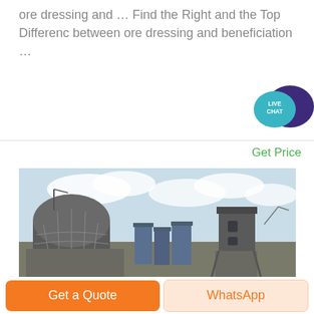ore dressing and … Find the Right and the Top Differenc between ore dressing and beneficiation …
[Figure (illustration): Live Chat bubble icon — teal speech bubble with 'LIVE CHAT' text overlapping a dark purple larger speech bubble]
Get Price
[Figure (photo): Industrial facility with large dome-shaped structure on the left, tall rectangular silos and processing towers in the centre and right, under a pale blue cloudy sky]
Get a Quote
WhatsApp